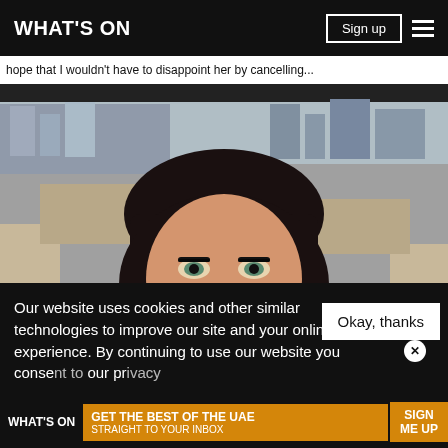WHAT'S ON | Sign up
hope that I wouldn't have to disappoint her by cancelling...
[Figure (photo): A woman with long black hair and green eyes taking a selfie in a car. She has heavy eye makeup and is looking directly at the camera. City skyline visible through the car window in the background.]
Our website uses cookies and other similar technologies to improve our site and your online experience. By continuing to use our website you consent to our privacy...
Okay, thanks
WHAT'S ON | GET THE BEST OF THE UAE STRAIGHT TO YOUR INBOX | SIGN ME UP